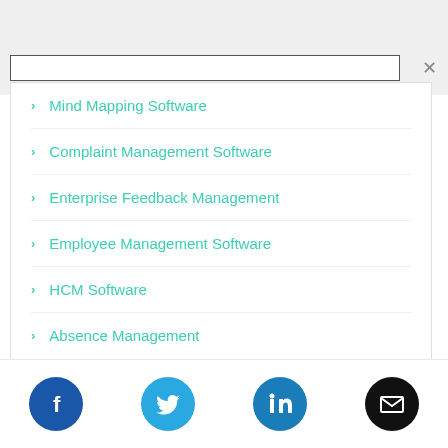Mind Mapping Software
Complaint Management Software
Enterprise Feedback Management
Employee Management Software
HCM Software
Absence Management
[Figure (infographic): Social media icons: Facebook (blue circle), Twitter (blue circle), LinkedIn (blue circle), Email (black circle)]